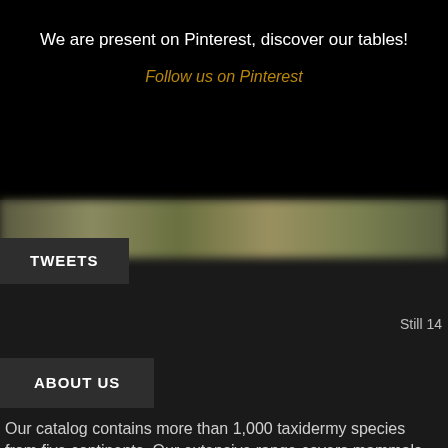We are present on Pinterest, discover our tables!
Follow us on Pinterest
TWEETS
Still 14
ABOUT US
Our catalog contains more than 1,000 taxidermy species from five continents. Our extensive range covers mammals as well as birds.